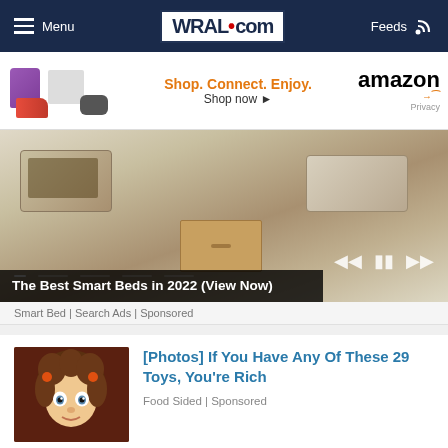Menu  WRAL.com  Feeds
[Figure (infographic): Amazon ad banner: Shop. Connect. Enjoy. amazon Shop now | Privacy]
[Figure (photo): Smart bed with storage drawers and adjustable features, slideshow with navigation controls and dots]
The Best Smart Beds in 2022 (View Now)
Smart Bed | Search Ads | Sponsored
[Figure (photo): Cabbage Patch doll with brown curly hair and wide eyes]
[Photos] If You Have Any Of These 29 Toys, You're Rich
Food Sided | Sponsored